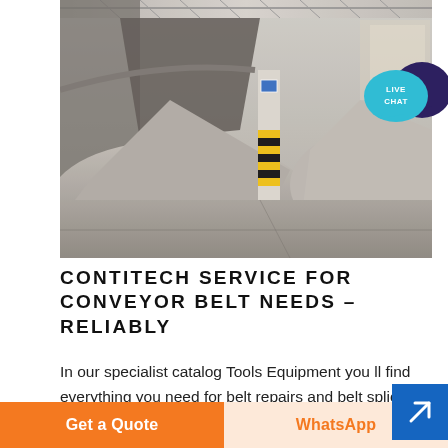[Figure (photo): Industrial warehouse interior showing a conveyor belt system with large piles of gravel/aggregate material, hazard-striped pillar visible, metal roof structure overhead]
[Figure (infographic): Live Chat speech bubble icon in teal/blue with dark purple chat bubble behind it, labeled LIVE CHAT]
CONTITECH SERVICE FOR CONVEYOR BELT NEEDS – RELIABLY
In our specialist catalog Tools Equipment you ll find everything you need for belt repairs and belt splicing
[Figure (infographic): Blue square navigation arrow button pointing upper-right]
Get a Quote
WhatsApp